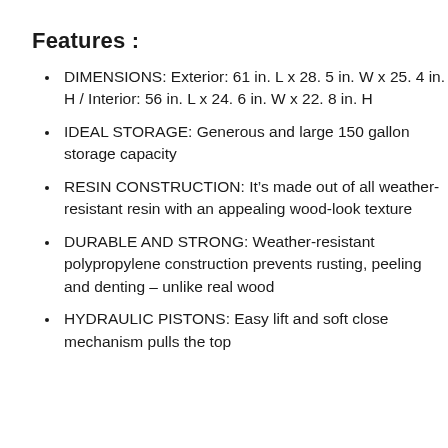Features :
DIMENSIONS: Exterior: 61 in. L x 28. 5 in. W x 25. 4 in. H / Interior: 56 in. L x 24. 6 in. W x 22. 8 in. H
IDEAL STORAGE: Generous and large 150 gallon storage capacity
RESIN CONSTRUCTION: It’s made out of all weather-resistant resin with an appealing wood-look texture
DURABLE AND STRONG: Weather-resistant polypropylene construction prevents rusting, peeling and denting – unlike real wood
HYDRAULIC PISTONS: Easy lift and soft close mechanism pulls the top